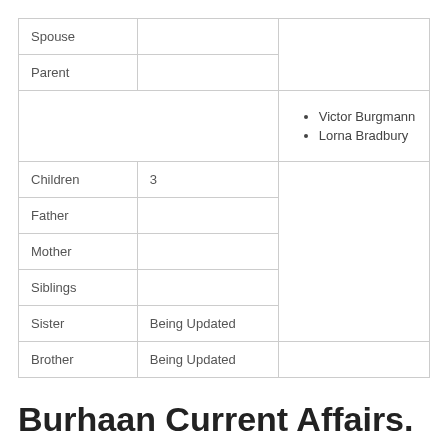|  |  |  |
| --- | --- | --- |
| Spouse |  |  |
| Parent |  | Victor Burgmann
Lorna Bradbury |
| Children | 3 |  |
| Father |  |  |
| Mother |  |  |
| Siblings |  |  |
| Sister | Being Updated |  |
| Brother | Being Updated |  |
Burhaan Current Affairs.